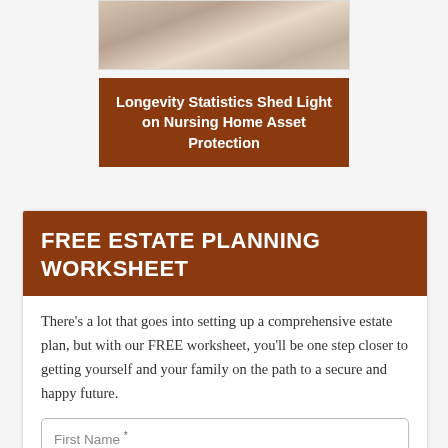[Figure (photo): Partial photo of hands writing/signing documents on a desk, cropped at top of page]
Longevity Statistics Shed Light on Nursing Home Asset Protection
FREE ESTATE PLANNING WORKSHEET
There's a lot that goes into setting up a comprehensive estate plan, but with our FREE worksheet, you'll be one step closer to getting yourself and your family on the path to a secure and happy future.
First Name *
(second input field, partially visible)